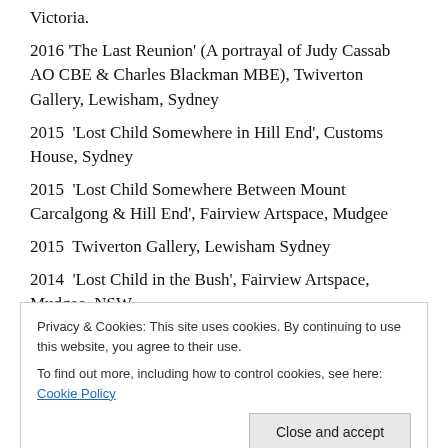Victoria.
2016 ‘The Last Reunion’ (A portrayal of Judy Cassab AO CBE & Charles Blackman MBE), Twiverton Gallery, Lewisham, Sydney
2015  ‘Lost Child Somewhere in Hill End’, Customs House, Sydney
2015  ‘Lost Child Somewhere Between Mount Carcalgong & Hill End’, Fairview Artspace, Mudgee
2015  Twiverton Gallery, Lewisham Sydney
2014  ‘Lost Child in the Bush’, Fairview Artspace, Mudgee, NSW
Privacy & Cookies: This site uses cookies. By continuing to use this website, you agree to their use.
To find out more, including how to control cookies, see here: Cookie Policy
2013  Portraits of Prominent and Everyday Australians